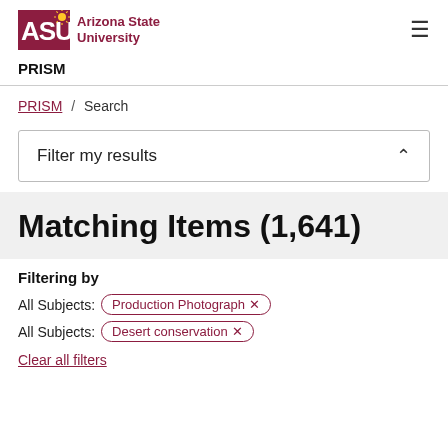[Figure (logo): Arizona State University logo with ASU text in maroon and university name]
PRISM
PRISM / Search
Filter my results
Matching Items (1,641)
Filtering by
All Subjects: Production Photograph ×
All Subjects: Desert conservation ×
Clear all filters